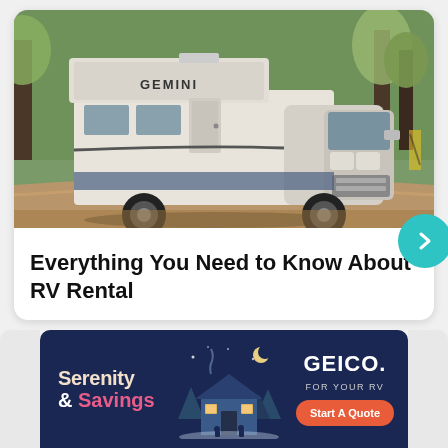[Figure (photo): A white Gemini-branded Class C RV motorhome driving on a road through autumn trees]
Everything You Need to Know About RV Rental
[Figure (infographic): GEICO advertisement banner with dark navy background. Left side: 'Serenity & Savings' text. Center: illustrated cabin/house at night scene. Right side: GEICO logo with 'FOR YOUR RV' text and orange 'Start A Quote' button.]